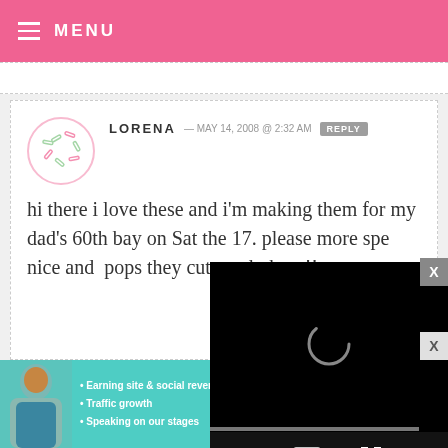MENU
LORENA — MAY 14, 2008 @ 2:32 AM  REPLY
hi there i love these and i'm making them for my dad's 60th bay on Sat the 17. please [text obscured by video] more spe[cial] nice and [text obscured] pops they[text obscured] cute and [text obscured] these!!
[Figure (screenshot): Embedded video player overlay with black background, loading spinner, progress bar, timestamp 13:52, and playback controls including mute, CC, grid, and fullscreen buttons]
[Figure (photo): Advertisement banner for SHE Partner Network with teal background, woman photo, bullet points: Earning site & social revenue, Traffic growth, Speaking on our stages, SHE logo, and Learn More button]